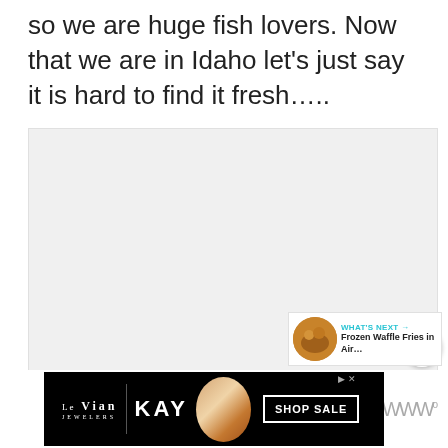so we are huge fish lovers. Now that we are in Idaho let's just say it is hard to find it fresh…..
[Figure (photo): Large light gray placeholder image area for a food photo]
[Figure (other): Circular teal heart/favorite button icon]
[Figure (other): Circular white share/add button icon]
[Figure (other): What's Next panel showing a thumbnail of Frozen Waffle Fries with text 'WHAT'S NEXT → Frozen Waffle Fries in Air...']
[Figure (other): Le Vian Kay Jewelers advertisement banner with ring image and SHOP SALE button]